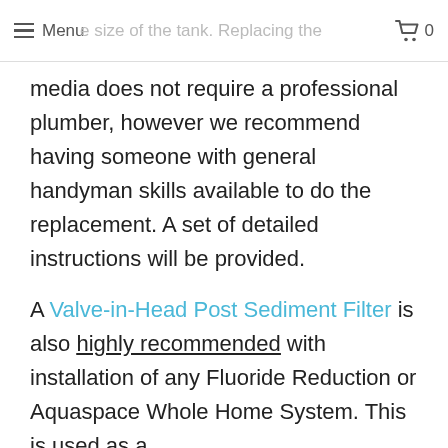Menu  [cart icon] 0  e size of the tank. Replacing the
media does not require a professional plumber, however we recommend having someone with general handyman skills available to do the replacement. A set of detailed instructions will be provided.
A Valve-in-Head Post Sediment Filter is also highly recommended with installation of any Fluoride Reduction or Aquaspace Whole Home System. This is used as a